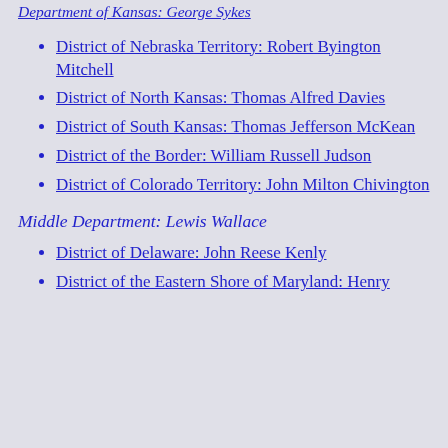Department of Kansas: George Sykes
District of Nebraska Territory: Robert Byington Mitchell
District of North Kansas: Thomas Alfred Davies
District of South Kansas: Thomas Jefferson McKean
District of the Border: William Russell Judson
District of Colorado Territory: John Milton Chivington
Middle Department: Lewis Wallace
District of Delaware: John Reese Kenly
District of the Eastern Shore of Maryland: Henry